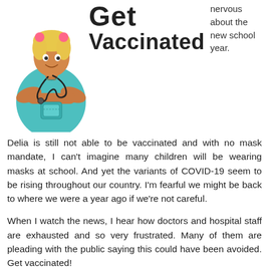[Figure (illustration): Cartoon illustration of a doctor/nurse in teal scrubs with arms crossed and a stethoscope]
Get Vaccinated
nervous about the new school year.
Delia is still not able to be vaccinated and with no mask mandate, I can't imagine many children will be wearing masks at school. And yet the variants of COVID-19 seem to be rising throughout our country. I'm fearful we might be back to where we were a year ago if we're not careful.
When I watch the news, I hear how doctors and hospital staff are exhausted and so very frustrated. Many of them are pleading with the public saying this could have been avoided. Get vaccinated!